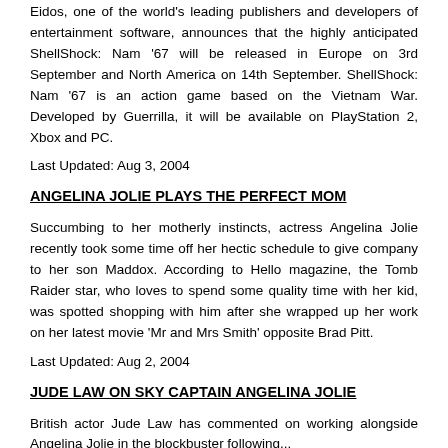Eidos, one of the world's leading publishers and developers of entertainment software, announces that the highly anticipated ShellShock: Nam '67 will be released in Europe on 3rd September and North America on 14th September. ShellShock: Nam '67 is an action game based on the Vietnam War. Developed by Guerrilla, it will be available on PlayStation 2, Xbox and PC.
Last Updated: Aug 3, 2004
ANGELINA JOLIE PLAYS THE PERFECT MOM
Succumbing to her motherly instincts, actress Angelina Jolie recently took some time off her hectic schedule to give company to her son Maddox. According to Hello magazine, the Tomb Raider star, who loves to spend some quality time with her kid, was spotted shopping with him after she wrapped up her work on her latest movie 'Mr and Mrs Smith' opposite Brad Pitt.
Last Updated: Aug 2, 2004
JUDE LAW ON SKY CAPTAIN ANGELINA JOLIE
British actor Jude Law has commented on working alongside Angelina Jolie in the blockbuster following...